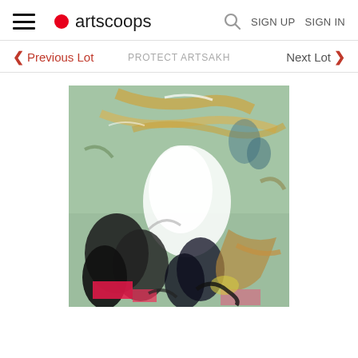artscoops — SIGN UP  SIGN IN
< Previous Lot
PROTECT ARTSAKH
Next Lot >
[Figure (illustration): Abstract expressionist painting with a mint/sage green background. Features dynamic brushstrokes in white, black, gold/ochre, and pink. Dark figures or organic shapes in lower left, white central burst shape, scattered gestural marks throughout.]